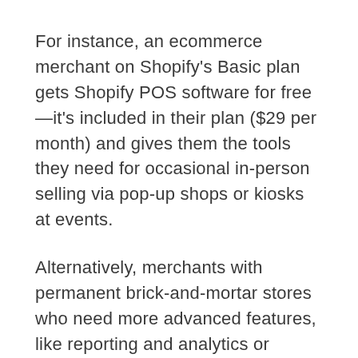For instance, an ecommerce merchant on Shopify's Basic plan gets Shopify POS software for free—it's included in their plan ($29 per month) and gives them the tools they need for occasional in-person selling via pop-up shops or kiosks at events.
Alternatively, merchants with permanent brick-and-mortar stores who need more advanced features, like reporting and analytics or greater control over staff and user permissions, can sign up for Shopify POS Pro for $89 per month, per store location.